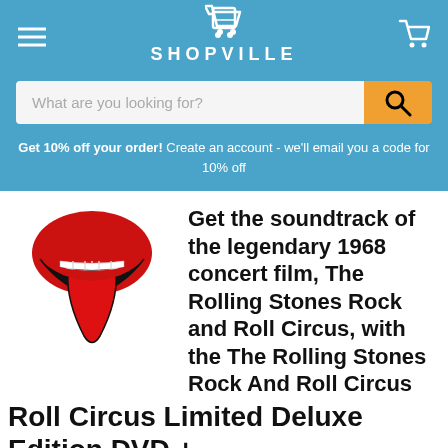SHOPVILLE
What are you looking for?
Get 10% off your order! Create an account - we'll email you a code for 10% off
[Figure (logo): Rolling Stones tongue and lips logo in red, black and white]
Get the soundtrack of the legendary 1968 concert film, The Rolling Stones Rock and Roll Circus, with the The Rolling Stones Rock And Roll Circus Limited Deluxe Edition DVD +